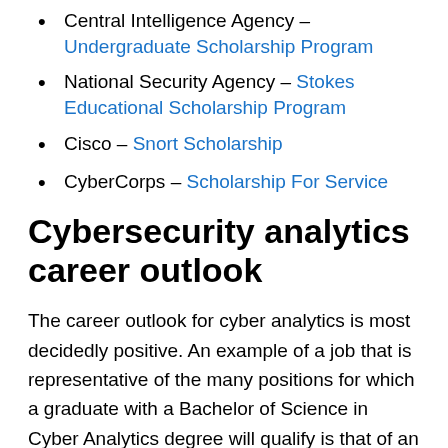Central Intelligence Agency – Undergraduate Scholarship Program
National Security Agency – Stokes Educational Scholarship Program
Cisco – Snort Scholarship
CyberCorps – Scholarship For Service
Cybersecurity analytics career outlook
The career outlook for cyber analytics is most decidedly positive. An example of a job that is representative of the many positions for which a graduate with a Bachelor of Science in Cyber Analytics degree will qualify is that of an information security analyst. The Bureau of Labor